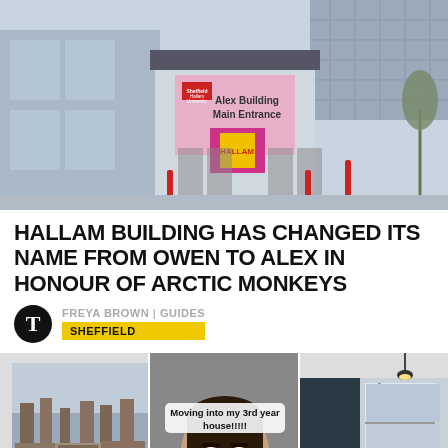[Figure (photo): Exterior photo of Sheffield Hallam University Alex Building Main Entrance, showing a modern glass building with a pink signage panel reading 'Alex Building Main Entrance' and Sheffield Hallam University logo.]
HALLAM BUILDING HAS CHANGED ITS NAME FROM OWEN TO ALEX IN HONOUR OF ARCTIC MONKEYS
FREYA BROWN | GUIDES
SHEFFIELD
[Figure (photo): View through a window showing rooftops of brick terraced houses, overcast sky.]
[Figure (photo): TikTok video screenshot of a young woman with text overlay reading 'Moving into my 3rd year house!!!!']
[Figure (photo): Interior photo of a modern room with dark walls, a pendant light, and a window.]